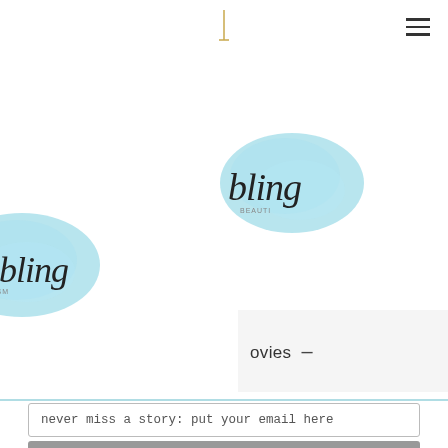Navigation bar with logo mark and hamburger menu
[Figure (logo): Partial watercolor blue blob logo with script text 'bling' visible, positioned upper-center-right]
[Figure (logo): Partial watercolor blue blob logo with script text 'mbling' visible, positioned left side]
ovies —
never miss a story: put your email here
hurray!